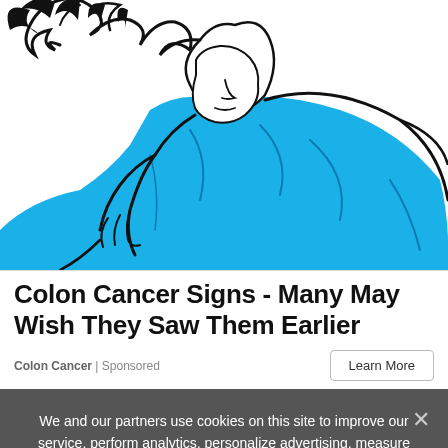[Figure (illustration): Line art illustration of a person bent over holding their stomach/abdomen area, wearing a bright blue shirt, with dark hair, suggesting abdominal pain or discomfort. Black outline style on white background.]
Colon Cancer Signs - Many May Wish They Saw Them Earlier
Colon Cancer | Sponsored
We and our partners use cookies on this site to improve our service, perform analytics, personalize advertising, measure advertising performance, and remember website preferences.
Ok